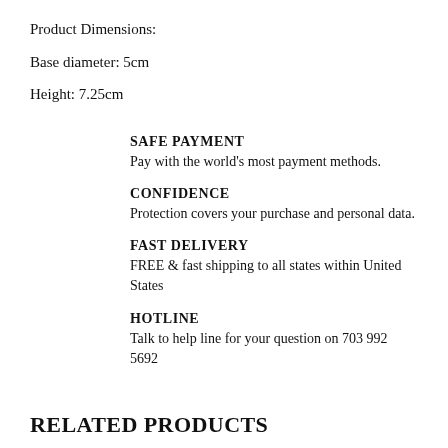Product Dimensions:
Base diameter: 5cm
Height: 7.25cm
SAFE PAYMENT
Pay with the world's most payment methods.
CONFIDENCE
Protection covers your purchase and personal data.
FAST DELIVERY
FREE & fast shipping to all states within United States
HOTLINE
Talk to help line for your question on 703 992 5692
RELATED PRODUCTS